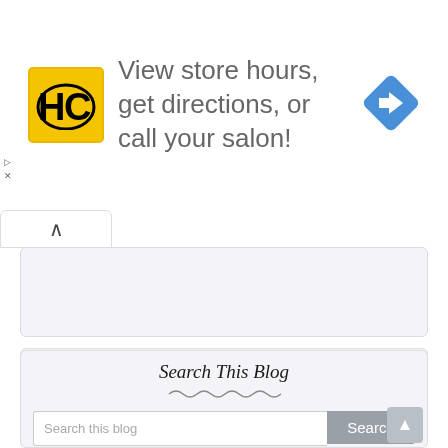[Figure (infographic): Ad banner with HC (Hair Club) yellow logo on left, text 'View store hours, get directions, or call your salon!' in center, and blue navigation arrow diamond icon on right, with small ad close controls (triangle and X) on far left margin]
[Figure (other): Collapsed accordion tab with upward caret (^) symbol]
[Figure (other): First empty light gray rounded rectangle advertisement box]
[Figure (other): Second empty light gray rounded rectangle advertisement box]
Search This Blog
[Figure (other): Squiggly/wavy decorative underline beneath Search This Blog heading]
Search this blog
Search